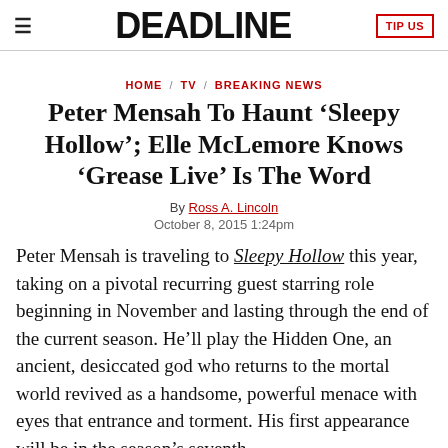DEADLINE  TIP US
HOME / TV / BREAKING NEWS
Peter Mensah To Haunt ‘Sleepy Hollow’; Elle McLemore Knows ‘Grease Live’ Is The Word
By Ross A. Lincoln
October 8, 2015 1:24pm
Peter Mensah is traveling to Sleepy Hollow this year, taking on a pivotal recurring guest starring role beginning in November and lasting through the end of the current season. He’ll play the Hidden One, an ancient, desiccated god who returns to the mortal world revived as a handsome, powerful menace with eyes that entrance and torment. His first appearance will be in the season’s seventh